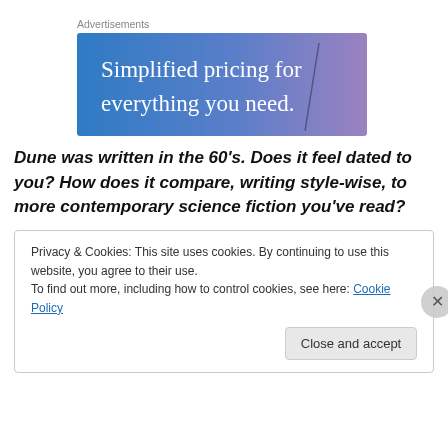[Figure (infographic): Advertisement banner with blue-to-purple gradient background and text 'Simplified pricing for everything you need.']
Dune was written in the 60's. Does it feel dated to you? How does it compare, writing style-wise, to more contemporary science fiction you've read?
Privacy & Cookies: This site uses cookies. By continuing to use this website, you agree to their use.
To find out more, including how to control cookies, see here: Cookie Policy